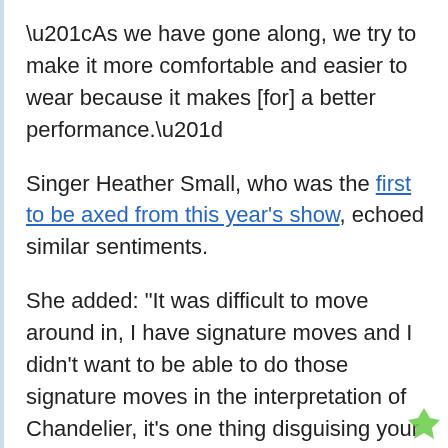“As we have gone along, we try to make it more comfortable and easier to wear because it makes [for] a better performance.”
Singer Heather Small, who was the first to be axed from this year’s show, echoed similar sentiments.
She added: “It was difficult to move around in, I have signature moves and I didn’t want to be able to do those signature moves in the interpretation of Chandelier, it’s one thing disguising your voice but you can’t always disguise your body language.”
Following Pat’s exit this evening, Saturday 15 January, The Masked Singer viewers have